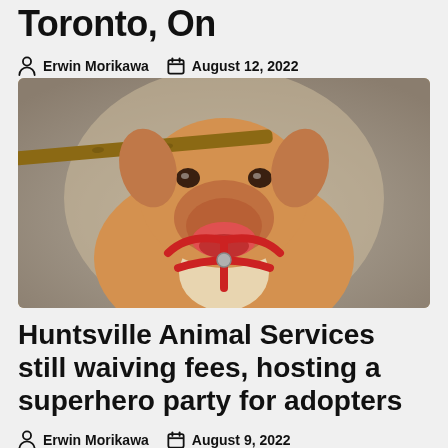Toronto, On
Erwin Morikawa  August 12, 2022
[Figure (photo): A tan/golden dog wearing a red harness, holding a stick in its mouth, photographed from below against a blurred outdoor background]
Huntsville Animal Services still waiving fees, hosting a superhero party for adopters
Erwin Morikawa  August 9, 2022